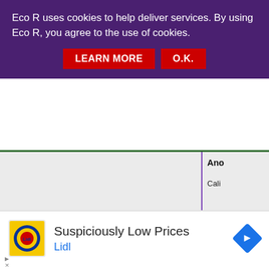Eco R uses cookies to help deliver services. By using Eco R, you agree to the use of cookies.
LEARN MORE  O.K.
Ano
Cali
Des des ont été l dans
Une
[Figure (screenshot): Lidl advertisement banner with Lidl logo, text 'Suspiciously Low Prices', brand name 'Lidl', and a navigation arrow icon]